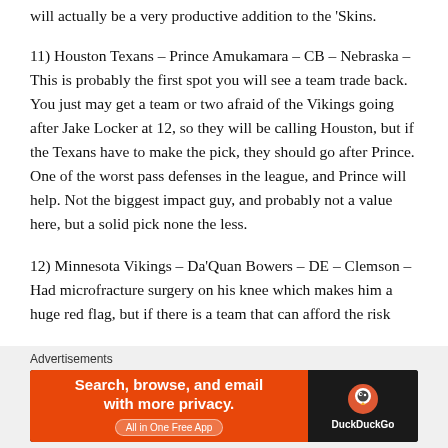will actually be a very productive addition to the 'Skins.
11) Houston Texans – Prince Amukamara – CB – Nebraska – This is probably the first spot you will see a team trade back. You just may get a team or two afraid of the Vikings going after Jake Locker at 12, so they will be calling Houston, but if the Texans have to make the pick, they should go after Prince. One of the worst pass defenses in the league, and Prince will help. Not the biggest impact guy, and probably not a value here, but a solid pick none the less.
12) Minnesota Vikings – Da'Quan Bowers – DE – Clemson – Had microfracture surgery on his knee which makes him a huge red flag, but if there is a team that can afford the risk
[Figure (other): DuckDuckGo advertisement banner: orange left panel with text 'Search, browse, and email with more privacy. All in One Free App' and dark right panel with DuckDuckGo logo]